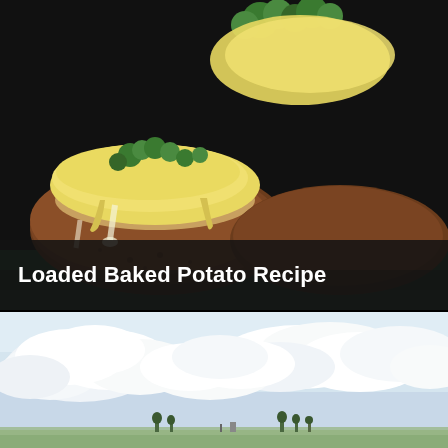[Figure (photo): Close-up photo of loaded baked potatoes topped with melted cheese and broccoli, served on a dark green plate against a dark background.]
Loaded Baked Potato Recipe
[Figure (photo): Outdoor landscape photo with a pale blue sky filled with white fluffy clouds. Small dark shapes of trees or structures visible along the bottom horizon line.]